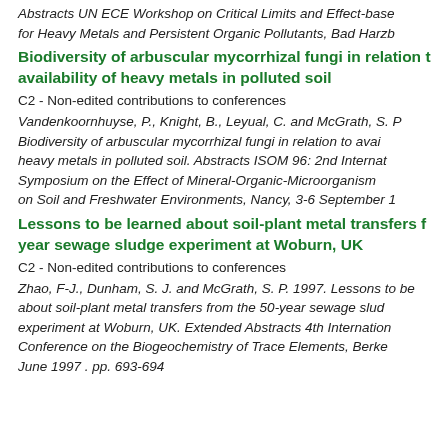Abstracts UN ECE Workshop on Critical Limits and Effect-based Approaches for Heavy Metals and Persistent Organic Pollutants, Bad Harz...
Biodiversity of arbuscular mycorrhizal fungi in relation to availability of heavy metals in polluted soil
C2 - Non-edited contributions to conferences
Vandenkoornhuyse, P., Knight, B., Leyual, C. and McGrath, S. P. Biodiversity of arbuscular mycorrhizal fungi in relation to availability of heavy metals in polluted soil. Abstracts ISOM 96: 2nd International Symposium on the Effect of Mineral-Organic-Microorganism Interactions on Soil and Freshwater Environments, Nancy, 3-6 September 1...
Lessons to be learned about soil-plant metal transfers from the 50-year sewage sludge experiment at Woburn, UK
C2 - Non-edited contributions to conferences
Zhao, F-J., Dunham, S. J. and McGrath, S. P. 1997. Lessons to be learned about soil-plant metal transfers from the 50-year sewage sludge experiment at Woburn, UK. Extended Abstracts 4th International Conference on the Biogeochemistry of Trace Elements, Berkeley, June 1997 . pp. 693-694